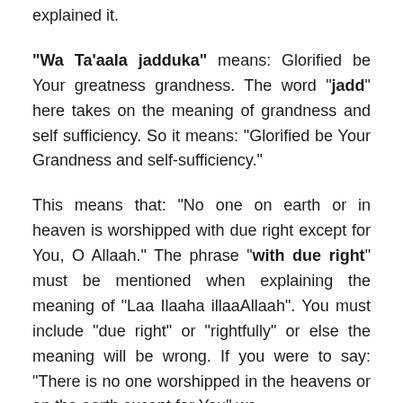explained it.
“Wa Ta’aala jadduka” means: Glorified be Your greatness grandness. The word “jadd” here takes on the meaning of grandness and self sufficiency. So it means: “Glorified be Your Grandness and self-sufficiency.”
This means that: “No one on earth or in heaven is worshipped with due right except for You, O Allaah.” The phrase “with due right” must be mentioned when explaining the meaning of “Laa Ilaaha illaaAllaah”. You must include “due right” or “rightfully” or else the meaning will be wrong. If you were to say: “There is no one worshipped in the heavens or on the earth except for You” we